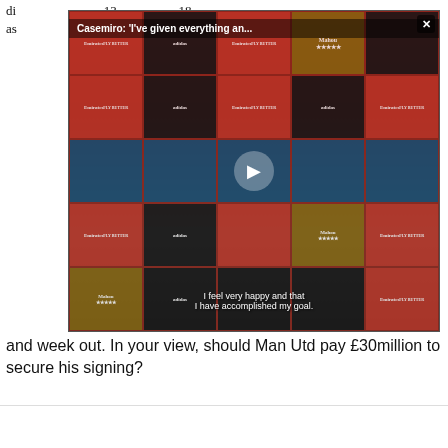di... ...t... ...l... ...13... ...18...
as...
[Figure (screenshot): Video overlay showing Casemiro at a press conference with Emirates and Mahou sponsor boards. Title bar reads: Casemiro: 'I've given everything an...' with a close button. Subtitle: 'I feel very happy and that I have accomplished my goal.']
and week out. In your view, should Man Utd pay £30million to secure his signing?
MILAN ASENSIO UN Maldini chiama Ancelotti, ma la Ju
Capla di al vere blu compagna...
Related Stories
DA PETALOBRE, SANCHEZ, LAM: ACCORDO OPPURE RIMANGO PER ESSERE AL TOP DI COPA